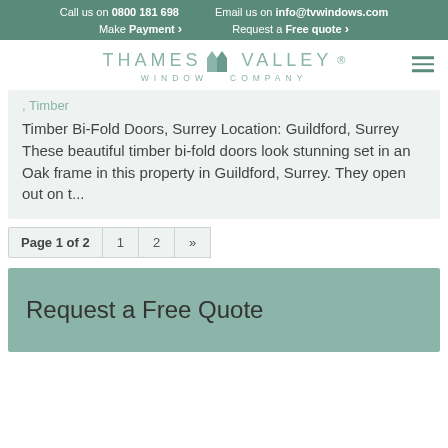Call us on 0800 181 698  Email us on info@tvwindows.com  Make Payment >  Request a Free quote >
[Figure (logo): Thames Valley Window Company logo with stylized house/window icon]
, Timber
Timber Bi-Fold Doors, Surrey Location: Guildford, Surrey These beautiful timber bi-fold doors look stunning set in an Oak frame in this property in Guildford, Surrey. They open out on t...
Page 1 of 2  1  2  »
Request a Free Quote